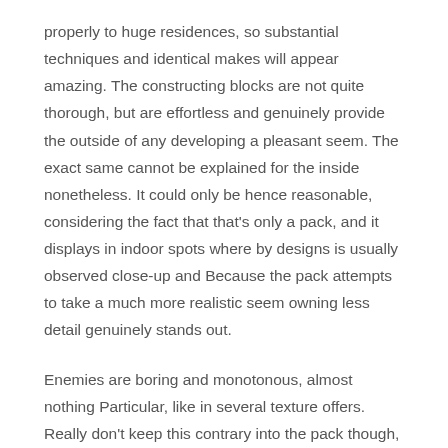properly to huge residences, so substantial techniques and identical makes will appear amazing. The constructing blocks are not quite thorough, but are effortless and genuinely provide the outside of any developing a pleasant seem. The exact same cannot be explained for the inside nonetheless. It could only be hence reasonable, considering the fact that that's only a pack, and it displays in indoor spots where by designs is usually observed close-up and Because the pack attempts to take a much more realistic seem owning less detail genuinely stands out.
Enemies are boring and monotonous, almost nothing Particular, like in several texture offers. Really don't keep this contrary into the pack though, opponents appear high-quality, They simply don't be successful like some other components from the pack do. The Nether is really a lower level for the pack with layouts remaining bland rather than virtually extensive plenty of. Soulsand specially is awful whilst the remaining models might be excellent with a few slight modifications or added aspects to generate them more